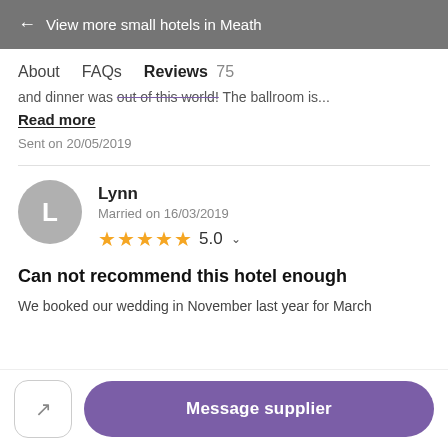← View more small hotels in Meath
About   FAQs   Reviews 75
and dinner was out of this world! The ballroom is...
Read more
Sent on 20/05/2019
Lynn
Married on 16/03/2019
★★★★★ 5.0
Can not recommend this hotel enough
We booked our wedding in November last year for March
Message supplier